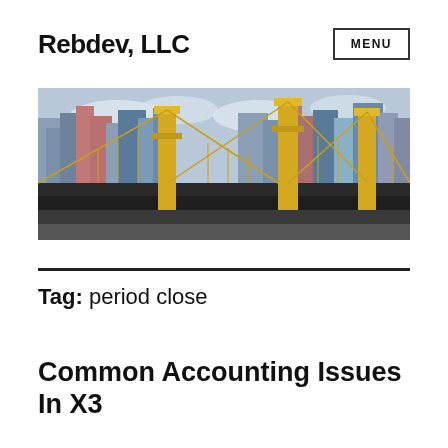Rebdev, LLC
MENU
[Figure (photo): A yellow suspension bridge with city buildings in the background, photographed from a low angle showing the cables and towers against a cloudy sky.]
Tag: period close
Common Accounting Issues In X3